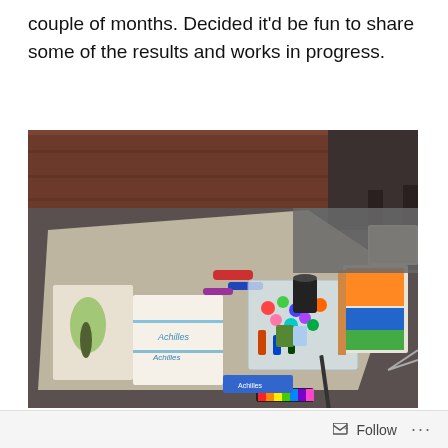couple of months. Decided it'd be fun to share some of the results and works in progress.
[Figure (photo): A photo of an art workspace on a living room floor, showing canvas sheets, paint supplies, markers, a clear plastic organizer box with colorful art supplies, books, and various art materials spread out on carpet.]
A random pic of of my lovely work space on the living room
Follow ...